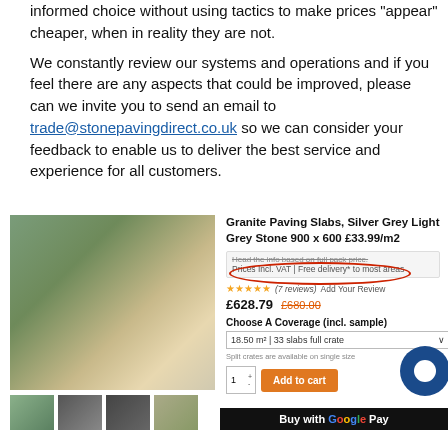informed choice without using tactics to make prices "appear" cheaper, when in reality they are not.
We constantly review our systems and operations and if you feel there are any aspects that could be improved, please can we invite you to send an email to trade@stonepavingdirect.co.uk so we can consider your feedback to enable us to deliver the best service and experience for all customers.
[Figure (photo): Product listing screenshot showing Granite Paving Slabs, Silver Grey Light Grey Stone 900 x 600 at £33.99/m2, with a photo of an outdoor patio area with garden furniture, price £628.79 (was £680.00), 7 reviews, coverage selector showing 18.50m2 / 33 slabs full crate, Add to cart button, and Buy with Google Pay button.]